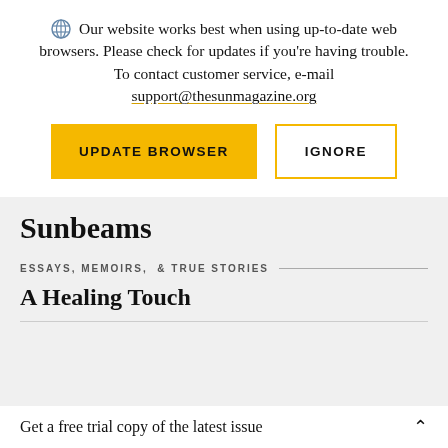Our website works best when using up-to-date web browsers. Please check for updates if you're having trouble. To contact customer service, e-mail support@thesunmagazine.org
UPDATE BROWSER
IGNORE
Sunbeams
ESSAYS, MEMOIRS, & TRUE STORIES
A Healing Touch
Get a free trial copy of the latest issue